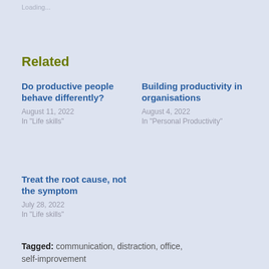Loading...
Related
Do productive people behave differently?
August 11, 2022
In "Life skills"
Building productivity in organisations
August 4, 2022
In "Personal Productivity"
Treat the root cause, not the symptom
July 28, 2022
In "Life skills"
Tagged: communication, distraction, office, self-improvement